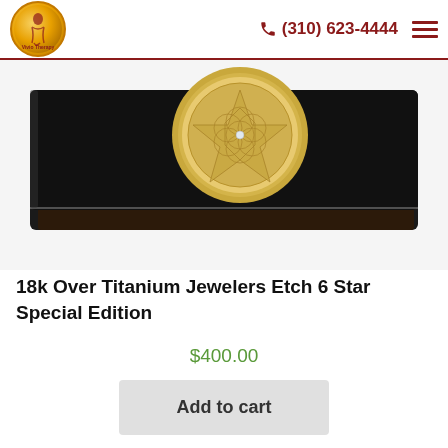Vivio Therapy | (310) 623-4444
[Figure (photo): Close-up photo of a black rectangular base with a gold circular medallion on top, featuring an etched geometric star pattern.]
18k Over Titanium Jewelers Etch 6 Star Special Edition
$400.00
Add to cart